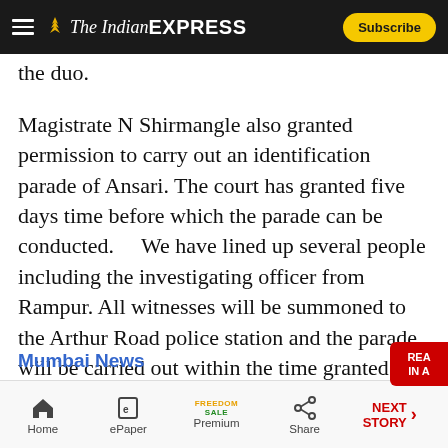The Indian EXPRESS — Subscribe
the duo.
Magistrate N Shirmangle also granted permission to carry out an identification parade of Ansari. The court has granted five days time before which the parade can be conducted.    We have lined up several people including the investigating officer from Rampur. All witnesses will be summoned to the Arthur Road police station and the parade will be carried out within the time granted by the court,    said Publice Prosecutor Eknath Dhamal.
Mumbai News
Home | ePaper | Premium (FREEDOM SALE) | Share | NEXT STORY